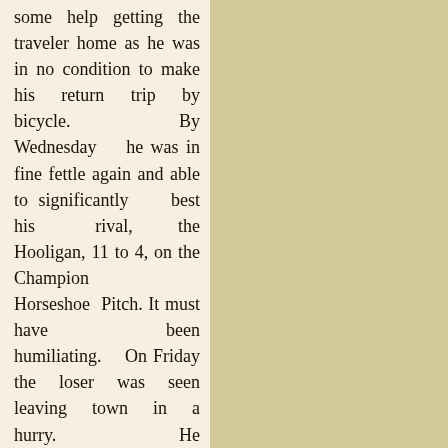some help getting the traveler home as he was in no condition to make his return trip by bicycle. By Wednesday he was in fine fettle again and able to significantly best his rival, the Hooligan, 11 to 4, on the Champion Horseshoe Pitch. It must have been humiliating. On Friday the loser was seen leaving town in a hurry. He had apparently been sneaking in a practice session.